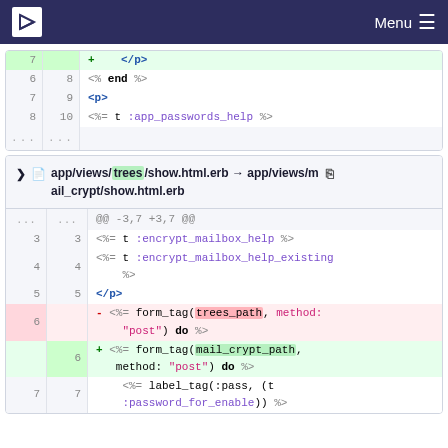Menu
[Figure (screenshot): Code diff snippet showing lines 6-10 with </p>, <% end %>, <p>, and <%= t :app_passwords_help %> lines plus ellipsis rows]
app/views/trees/show.html.erb → app/views/mail_crypt/show.html.erb
[Figure (screenshot): Code diff for app/views/trees/show.html.erb renamed to app/views/mail_crypt/show.html.erb showing hunk @@ -3,7 +3,7 @@ with context lines, a deletion of form_tag(trees_path, method: "post") do and an addition of form_tag(mail_crypt_path, method: "post") do, followed by label_tag(:pass, (t :password_for_enable)) lines]